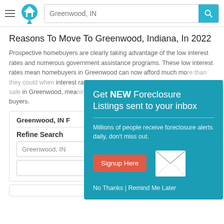[Figure (screenshot): Website header with hamburger menu, house logo icon, search bar with 'Greenwood, IN' placeholder, and teal search button with magnifier icon]
Reasons To Move To Greenwood, Indiana, In 2022
Prospective homebuyers are clearly taking advantage of the low interest rates and numerous government assistance programs. These low interest rates mean homebuyers in Greenwood can now afford much more than they could when interest rates were higher. There are many homes for sale in Greenwood, meaning there are plenty of options for qualified buyers.
Greenwood, IN F...
Refine Search
Greenwood, IN
[Figure (screenshot): Teal popup modal: 'Get NEW Foreclosure Listings sent to your inbox' with subtitle 'Millions of people receive foreclosure alerts daily, don't miss out.' Red 'Signup Here' button, envelope icon, and 'No Thanks | Remind Me Later' links]